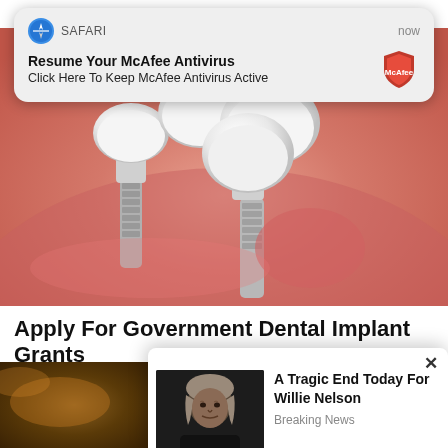[Figure (screenshot): Safari browser push notification banner: 'Resume Your McAfee Antivirus / Click Here To Keep McAfee Antivirus Active' with McAfee shield logo, overlaid on a webpage showing a dental implant 3D illustration.]
[Figure (illustration): 3D medical illustration of dental implants inserted into gum tissue, showing white ceramic crowns on titanium screw posts embedded in pink gum/jaw anatomy.]
Apply For Government Dental Implant Grants
🔥 55,363
[Figure (screenshot): Pop-up ad overlay showing a photo of Willie Nelson (elderly man, gray hair, dark clothing) with headline 'A Tragic End Today For Willie Nelson' and tag 'Breaking News'. Has an X close button.]